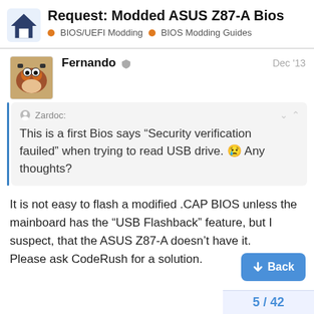Request: Modded ASUS Z87-A Bios
BIOS/UEFI Modding · BIOS Modding Guides
Fernando · Dec '13
Zardoc:
This is a first Bios says "Security verification fauiled" when trying to read USB drive. 😢 Any thoughts?
It is not easy to flash a modified .CAP BIOS unless the mainboard has the "USB Flashback" feature, but I suspect, that the ASUS Z87-A doesn't have it.
Please ask CodeRush for a solution.
5 / 42